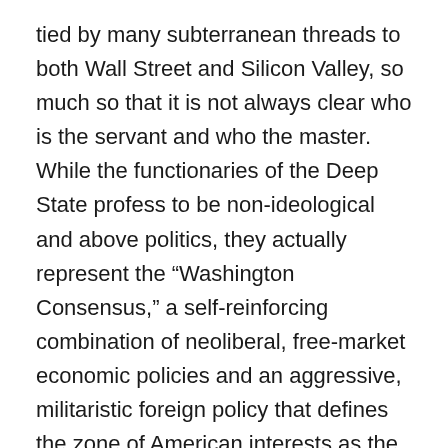tied by many subterranean threads to both Wall Street and Silicon Valley, so much so that it is not always clear who is the servant and who the master. While the functionaries of the Deep State profess to be non-ideological and above politics, they actually represent the “Washington Consensus,” a self-reinforcing combination of neoliberal, free-market economic policies and an aggressive, militaristic foreign policy that defines the zone of American interests as the entire globe.
Lofgren makes clear that he is not claiming the existence of a secret conspiratorial cabal, but you could almost say he’s protesting too much. What he really means is that the operatives of the Deep State